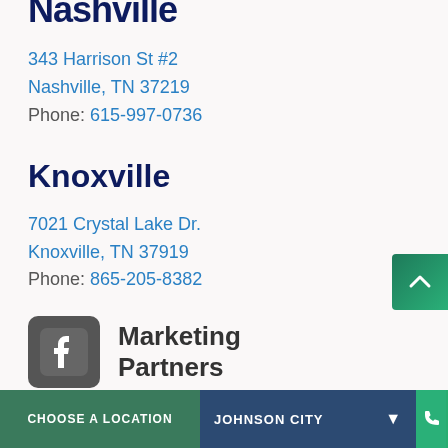Nashville
343 Harrison St #2
Nashville, TN 37219
Phone: 615-997-0736
Knoxville
7021 Crystal Lake Dr.
Knoxville, TN 37919
Phone: 865-205-8382
[Figure (logo): Facebook logo icon followed by text 'Marketing Partners']
CHOOSE A LOCATION   JOHNSON CITY ▾   [phone icon]   [navigation icon]